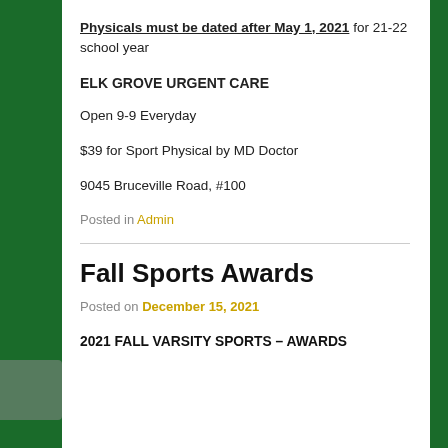Physicals must be dated after May 1, 2021 for 21-22 school year
ELK GROVE URGENT CARE
Open 9-9 Everyday
$39 for Sport Physical by MD Doctor
9045 Bruceville Road, #100
Posted in Admin
Fall Sports Awards
Posted on December 15, 2021
2021 FALL VARSITY SPORTS – AWARDS